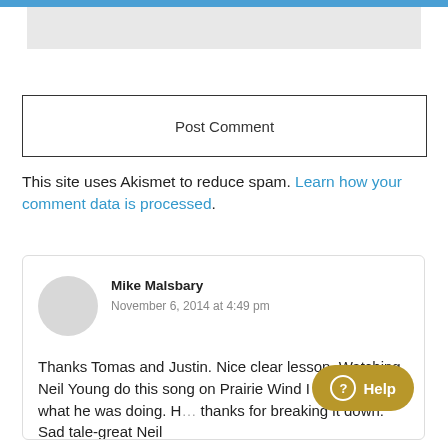[Figure (screenshot): Gray banner/header strip at the top of a web page screenshot]
Post Comment
This site uses Akismet to reduce spam. Learn how your comment data is processed.
Mike Malsbary
November 6, 2014 at 4:49 pm

Thanks Tomas and Justin. Nice clear lesson. Watching Neil Young do this song on Prairie Wind I tried to see what he was doing. H... thanks for breaking it down. Sad tale-great Neil
[Figure (screenshot): Help button widget in golden/dark yellow color with question mark circle icon and 'Help' text label]